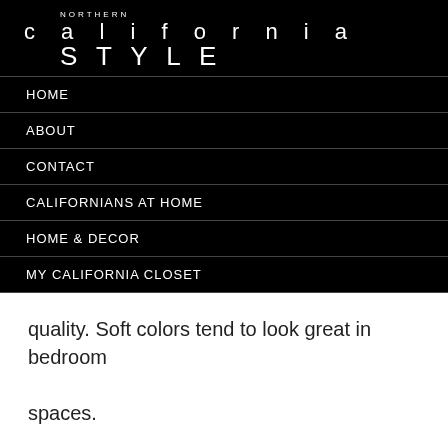NORTHERN california STYLE
HOME
ABOUT
CONTACT
CALIFORNIANS AT HOME
HOME & DECOR
MY CALIFORNIA CLOSET
quality. Soft colors tend to look great in bedroom spaces.
Pretty drapes or window coverings make a huge